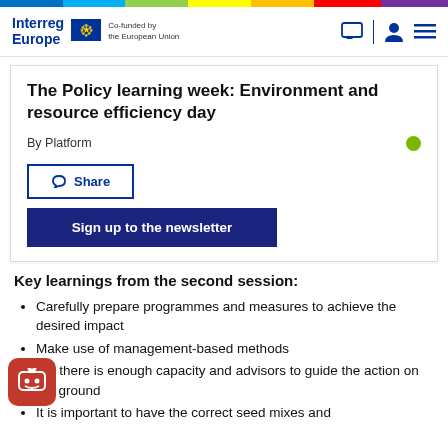Interreg Europe | Co-funded by the European Union
The Policy learning week: Environment and resource efficiency day
By Platform
Share
Sign up to the newsletter
Key learnings from the second session:
Carefully prepare programmes and measures to achieve the desired impact
Make use of management-based methods
Ensure there is enough capacity and advisors to guide the action on the ground
It is important to have the correct seed mixes and